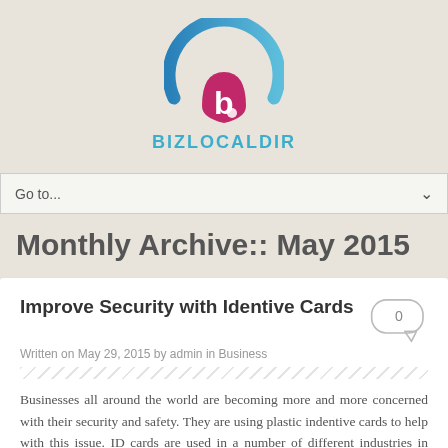[Figure (logo): BizLocalDir logo with blue arc and pink/magenta 'b' symbol above text BIZLOCALDIR in blue]
Go to...
Monthly Archive:: May 2015
Improve Security with Identive Cards
Written on May 29, 2015 by admin in Business
Businesses all around the world are becoming more and more concerned with their security and safety. They are using plastic indentive cards to help with this issue. ID cards are used in a number of different industries in many different